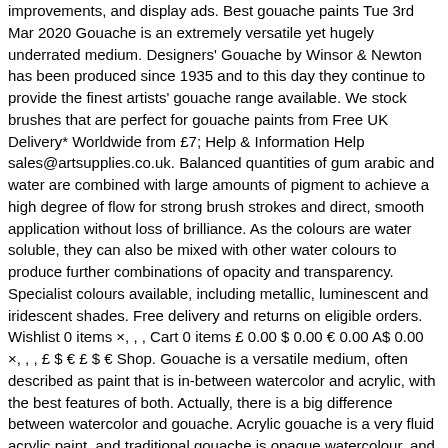improvements, and display ads. Best gouache paints Tue 3rd Mar 2020 Gouache is an extremely versatile yet hugely underrated medium. Designers' Gouache by Winsor & Newton has been produced since 1935 and to this day they continue to provide the finest artists' gouache range available. We stock brushes that are perfect for gouache paints from Free UK Delivery* Worldwide from £7; Help & Information Help sales@artsupplies.co.uk. Balanced quantities of gum arabic and water are combined with large amounts of pigment to achieve a high degree of flow for strong brush strokes and direct, smooth application without loss of brilliance. As the colours are water soluble, they can also be mixed with other water colours to produce further combinations of opacity and transparency. Specialist colours available, including metallic, luminescent and iridescent shades. Free delivery and returns on eligible orders. Wishlist 0 items ×, , , Cart 0 items £ 0.00 $ 0.00 € 0.00 A$ 0.00 ×, , , £ $ € £ $ € Shop. Gouache is a versatile medium, often described as paint that is in-between watercolor and acrylic, with the best features of both. Actually, there is a big difference between watercolor and gouache. Acrylic gouache is a very fluid acrylic paint, and traditional gouache is opaque watercolour, and so the brushes you might use for either of these mediums would be suitable for gouache. Gifts. Shop. It is fast drying. See more ideas about Aesthetic art, Art inspiration, Gouache painting. Vidhi Khandelwal makes wonderful use of these features in her book Painting Florals with Gouache: An Introduction to Creating Beautiful Botanical Artworks. Vidhi's floral...